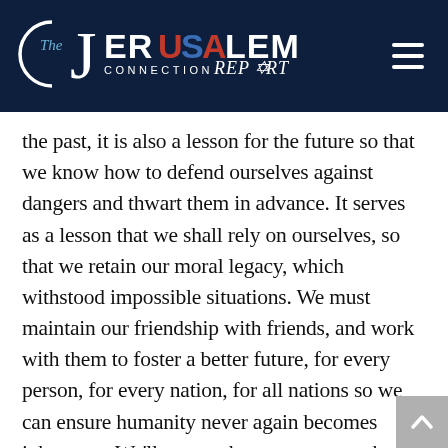[Figure (logo): The Jerusalem Connection Report logo on dark navy blue header bar with hamburger menu icon on the right]
the past, it is also a lesson for the future so that we know how to defend ourselves against dangers and thwart them in advance. It serves as a lesson that we shall rely on ourselves, so that we retain our moral legacy, which withstood impossible situations. We must maintain our friendship with friends, and work with them to foster a better future, for every person, for every nation, for all nations so we can ensure humanity never again becomes inhumane. We'll ensure that every person has the right to be unique — unique and equal. We will never despair. After all, we were commanded: 'Do not fear, my servant Jacob' because 'The Lord will give strength to his people,'